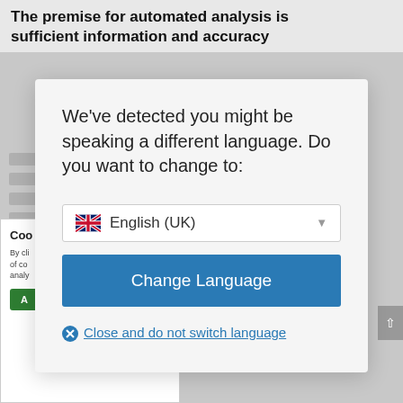The premise for automated analysis is sufficient information and accuracy
[Figure (screenshot): Background webpage content partially visible behind modal dialog, showing blurred text lines and a cookie consent box with green Accept button and an X close button. A gray scroll-to-top arrow button is visible on the right edge.]
We've detected you might be speaking a different language. Do you want to change to:
English (UK)
Change Language
Close and do not switch language